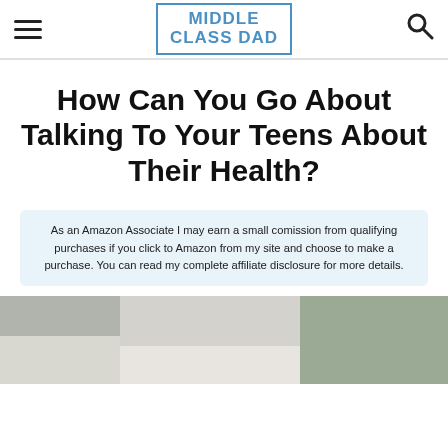Middle Class Dad — navigation header with hamburger menu, logo, and search icon
How Can You Go About Talking To Your Teens About Their Health?
As an Amazon Associate I may earn a small comission from qualifying purchases if you click to Amazon from my site and choose to make a purchase. You can read my complete affiliate disclosure for more details.
[Figure (photo): Partial photo of a person, cropped at bottom of page]